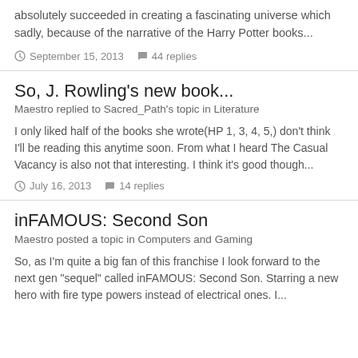absolutely succeeded in creating a fascinating universe which sadly, because of the narrative of the Harry Potter books...
September 15, 2013   44 replies
So, J. Rowling's new book...
Maestro replied to Sacred_Path's topic in Literature
I only liked half of the books she wrote(HP 1, 3, 4, 5,) don't think I'll be reading this anytime soon. From what I heard The Casual Vacancy is also not that interesting. I think it's good though...
July 16, 2013   14 replies
inFAMOUS: Second Son
Maestro posted a topic in Computers and Gaming
So, as I'm quite a big fan of this franchise I look forward to the next gen "sequel" called inFAMOUS: Second Son. Starring a new hero with fire type powers instead of electrical ones. I...